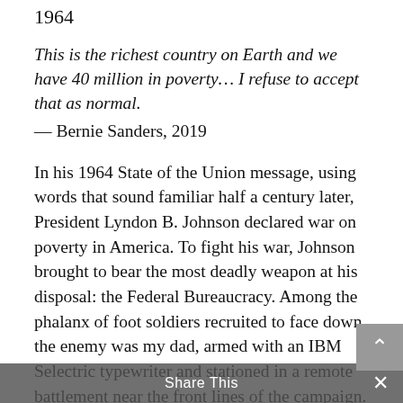1964
This is the richest country on Earth and we have 40 million in poverty… I refuse to accept that as normal.
— Bernie Sanders, 2019
In his 1964 State of the Union message, using words that sound familiar half a century later, President Lyndon B. Johnson declared war on poverty in America. To fight his war, Johnson brought to bear the most deadly weapon at his disposal: the Federal Bureaucracy. Among the phalanx of foot soldiers recruited to face down the enemy was my dad, armed with an IBM Selectric typewriter and stationed in a remote battlement near the front lines of the campaign.
The administration's major initiatives, all passed in 1965, included the Economic Opportunity Act that created the Job Corps and VISTA programs, the Food Stamp Act, the Elementary and Secondary